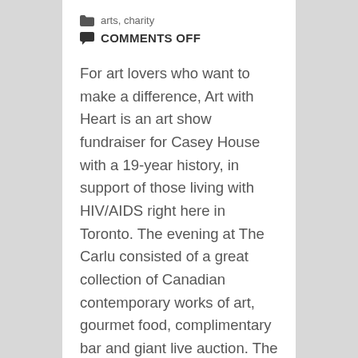arts, charity
COMMENTS OFF
For art lovers who want to make a difference, Art with Heart is an art show fundraiser for Casey House with a 19-year history, in support of those living with HIV/AIDS right here in Toronto. The evening at The Carlu consisted of a great collection of Canadian contemporary works of art, gourmet food, complimentary bar and giant live auction. The great catering of the fine food was by Daniel & Daniel.  These guys are everywhere. The seafood dish